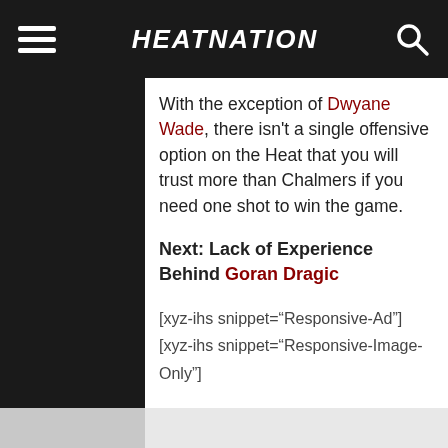HEATNATION
With the exception of Dwyane Wade, there isn't a single offensive option on the Heat that you will trust more than Chalmers if you need one shot to win the game.
Next: Lack of Experience Behind Goran Dragic
[xyz-ihs snippet="Responsive-Ad"]
[xyz-ihs snippet="Responsive-Image-Only"]